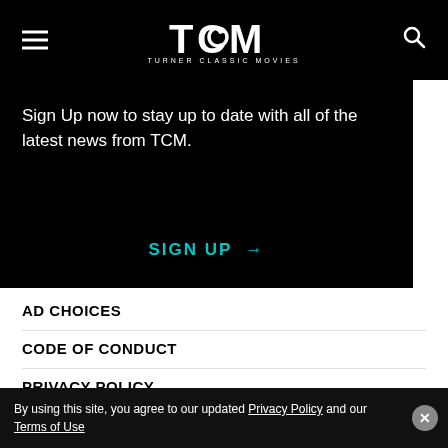TCM TURNER CLASSIC MOVIES
Sign Up now to stay up to date with all of the latest news from TCM.
SIGN UP →
AD CHOICES
CODE OF CONDUCT
PRIVACY POLICY
TERMS OF USE
CONTACT
By using this site, you agree to our updated Privacy Policy and our Terms of Use